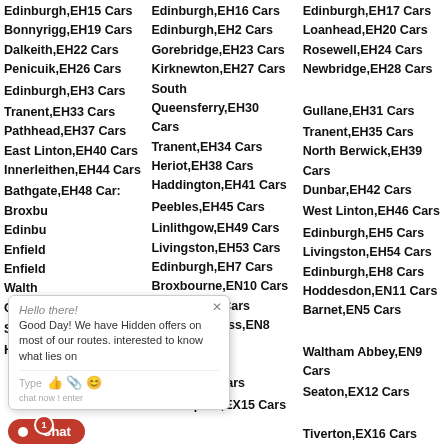Edinburgh,EH15 Cars
Edinburgh,EH16 Cars
Edinburgh,EH17 Cars
Bonnyrigg,EH19 Cars
Edinburgh,EH2 Cars
Loanhead,EH20 Cars
Dalkeith,EH22 Cars
Gorebridge,EH23 Cars
Rosewell,EH24 Cars
Penicuik,EH26 Cars
Kirknewton,EH27 Cars
Newbridge,EH28 Cars
Edinburgh,EH3 Cars
South Queensferry,EH30 Cars
Gullane,EH31 Cars
Tranent,EH33 Cars
Tranent,EH34 Cars
Tranent,EH35 Cars
Pathhead,EH37 Cars
Heriot,EH38 Cars
North Berwick,EH39 Cars
East Linton,EH40 Cars
Haddington,EH41 Cars
Dunbar,EH42 Cars
Innerleithen,EH44 Cars
Peebles,EH45 Cars
West Linton,EH46 Cars
Bathgate,EH48 Cars
Linlithgow,EH49 Cars
Edinburgh,EH5 Cars
Broxburn,EH52 Cars
Livingston,EH53 Cars
Livingston,EH54 Cars
Edinburgh,EH6 Cars
Edinburgh,EH7 Cars
Edinburgh,EH8 Cars
Enfield,EN1 Cars
Broxbourne,EN10 Cars
Hoddesdon,EN11 Cars
Enfield,EN2 Cars
Barnet,EN4 Cars
Barnet,EN5 Cars
Waltham Cross,EN8 Cars
Waltham Abbey,EN9 Cars
Sidmouth,EX10 Cars
Ottery Saint Mary,EX11 Cars
Seaton,EX12 Cars
Honiton,EX14 Cars
Cullompton,EX15 Cars
Tiverton,EX16 Cars